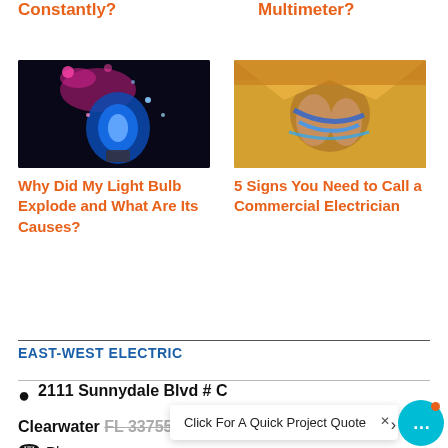Constantly?
Multimeter?
[Figure (photo): Exploding light bulb with blue and pink light on dark background]
[Figure (photo): Electrician hands with wires in yellow jacket]
Why Did My Light Bulb Explode and What Are Its Causes?
5 Signs You Need to Call a Commercial Electrician
EAST-WEST ELECTRIC
2111 Sunnydale Blvd # C
Clearwater FL 33755
Phone...
Click For A Quick Project Quote